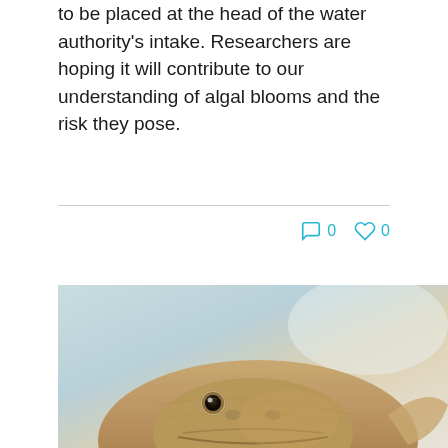to be placed at the head of the water authority's intake. Researchers are hoping it will contribute to our understanding of algal blooms and the risk they pose.
0  0
[Figure (photo): Close-up photograph of a fish head, appearing to be a large freshwater fish with a rounded snout, viewed from slightly above. The fish has a tan/golden-brown coloration and is set against a light blue-grey background.]